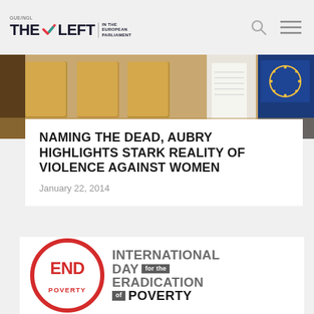GUE/NGL THE LEFT IN THE EUROPEAN PARLIAMENT
[Figure (photo): Interior of the European Parliament chamber showing rows of wooden seats and the EU Parliament logo screen in the background]
NAMING THE DEAD, AUBRY HIGHLIGHTS STARK REALITY OF VIOLENCE AGAINST WOMEN
January 22, 2014
[Figure (logo): International Day for the Eradication of Poverty logo featuring a red circle with END POVERTY text and the full event title in grey and dark text]